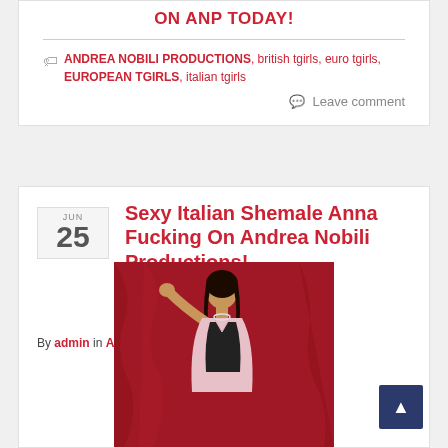ON ANP TODAY!
ANDREA NOBILI PRODUCTIONS, british tgirls, euro tgirls, EUROPEAN TGIRLS, italian tgirls
Leave comment
Sexy Italian Shemale Anna Fucking On Andrea Nobili Productions!
By admin in ANDREA NOBILI PRODUCTIONS
[Figure (photo): Woman posing in front of red curtain background, wearing black top and pink jacket]